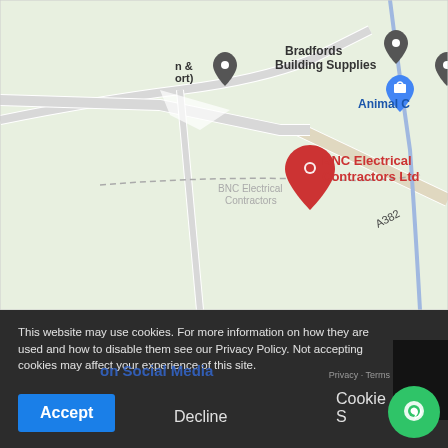[Figure (map): Google Maps screenshot showing BNC Electrical Contractors Ltd location near A382 road, with nearby landmarks including Bradfords Building Supplies and Animal C(are). A red location pin marks BNC Electrical Contractors Ltd. Map shows green fields/areas with road network.]
This website may use cookies. For more information on how they are used and how to disable them see our Privacy Policy. Not accepting cookies may affect your experience of this site.
on Social Media
Privacy · Terms
Accept
Decline
Cookie S